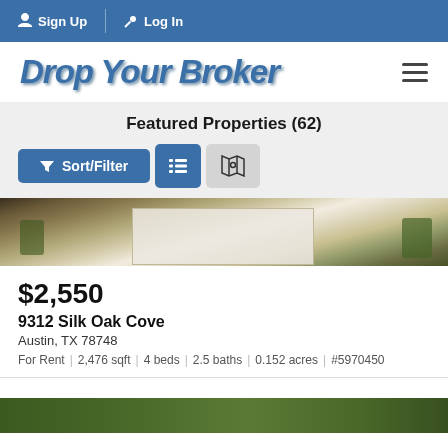Sign Up  Log In
Drop Your Broker
Featured Properties (62)
Sort/Filter
[Figure (photo): Exterior photo of house driveway with garage and potted plants]
$2,550
9312 Silk Oak Cove
Austin, TX 78748
For Rent  |  2,476 sqft  |  4 beds  |  2.5 baths  |  0.152 acres  |  #5970450
[Figure (photo): Partial exterior photo of another property, green lawn visible]